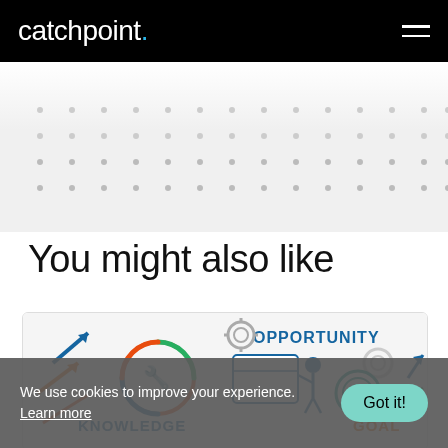catchpoint.
[Figure (illustration): Decorative dot grid pattern over a light grey background]
You might also like
[Figure (illustration): Infographic card with icons representing OPPORTUNITY, KNOWLEDGE, GOAL, MENTORING and related business concepts with colorful arrows]
We use cookies to improve your experience. Learn more